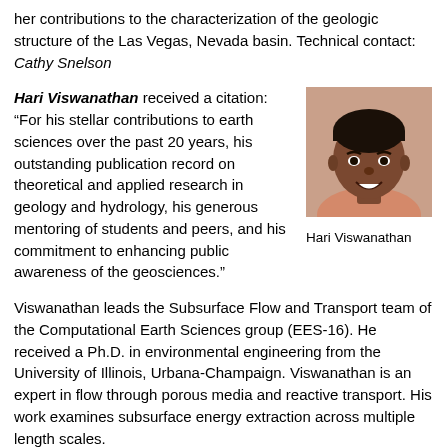her contributions to the characterization of the geologic structure of the Las Vegas, Nevada basin. Technical contact: Cathy Snelson
Hari Viswanathan received a citation: “For his stellar contributions to earth sciences over the past 20 years, his outstanding publication record on theoretical and applied research in geology and hydrology, his generous mentoring of students and peers, and his commitment to enhancing public awareness of the geosciences.”
[Figure (photo): Headshot photo of Hari Viswanathan]
Hari Viswanathan
Viswanathan leads the Subsurface Flow and Transport team of the Computational Earth Sciences group (EES-16). He received a Ph.D. in environmental engineering from the University of Illinois, Urbana-Champaign. Viswanathan is an expert in flow through porous media and reactive transport. His work examines subsurface energy extraction across multiple length scales.
Viswanathan has over 100 publications in the area of energy and global security and has large multi-disciplinary projects such as reducing the water footprint of hydraulic fracturing operations. His